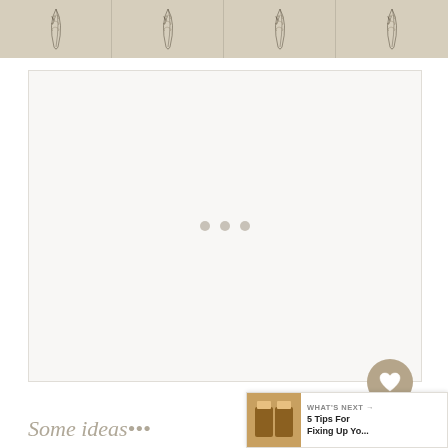[Figure (illustration): Repeating feather/leaf botanical illustration pattern on a beige/tan background banner across the top of the page]
[Figure (screenshot): Large white/light gray content loading area with three dots indicating loading state, with a heart/like button, count badge showing 1, and share button on the right side]
Some ideas•••